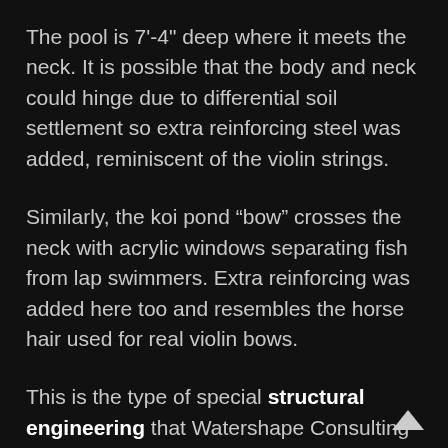The pool is 7'-4" deep where it meets the neck. It is possible that the body and neck could hinge due to differential soil settlement so extra reinforcing steel was added, reminiscent of the violin strings.
Similarly, the koi pond “bow” crosses the neck with acrylic windows separating fish from lap swimmers. Extra reinforcing was added here too and resembles the horse hair used for real violin bows.
This is the type of special structural engineering that Watershape Consulting is